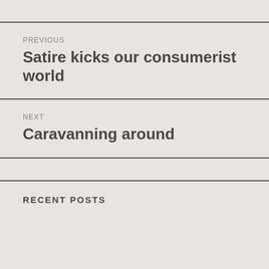PREVIOUS
Satire kicks our consumerist world
NEXT
Caravanning around
RECENT POSTS